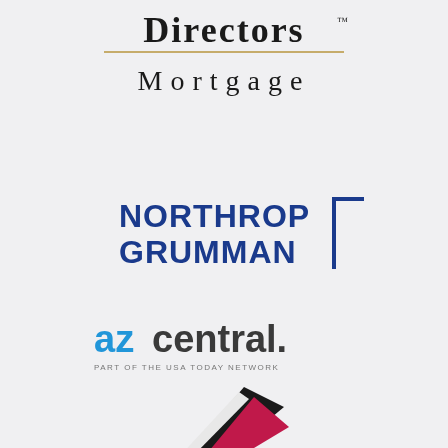[Figure (logo): Directors Mortgage logo — stylized 'Directors' wordmark in dark letters with a horizontal gold/brown rule beneath it, and 'Mortgage' in spaced serif letters below]
[Figure (logo): Northrop Grumman logo — bold blue sans-serif text 'NORTHROP GRUMMAN' with a blue right-angle bracket graphic to the right]
[Figure (logo): azcentral. logo — 'az' in blue bold lowercase, 'central.' in dark gray bold, with tagline 'PART OF THE USA TODAY NETWORK' in small gray caps beneath]
[Figure (logo): Partial logo at bottom — stylized bird/wing shape in black and magenta/pink, partially cropped]